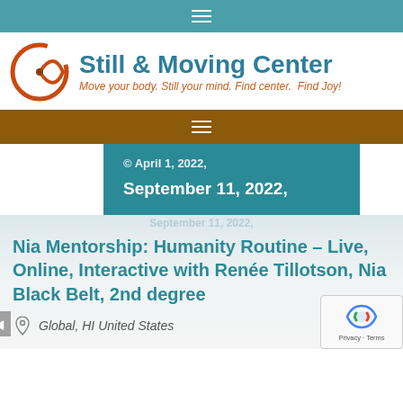≡ (navigation bar)
[Figure (logo): Still & Moving Center logo with circular orange/brown spiral symbol and teal text reading 'Still & Moving Center' with tagline 'Move your body. Still your mind. Find center. Find Joy!']
≡ (brown navigation bar)
© April 1, 2022,
September 11, 2022,
Nia Mentorship: Humanity Routine – Live, Online, Interactive with Renée Tillotson, Nia Black Belt, 2nd degree
Global, HI United States